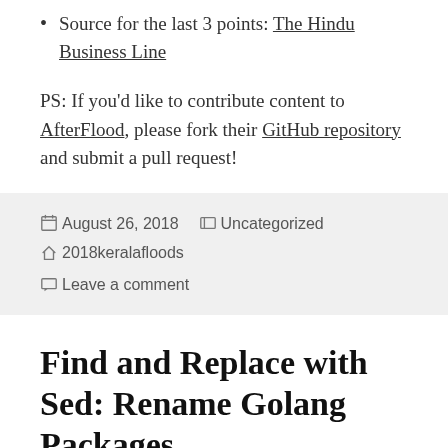Source for the last 3 points: The Hindu Business Line
PS: If you'd like to contribute content to AfterFlood, please fork their GitHub repository and submit a pull request!
August 26, 2018   Uncategorized   2018keralafloods   Leave a comment
Find and Replace with Sed: Rename Golang Packages
I just consolidated my GitHub, Twitter and Instagram handle. They are the same as the .com domain I bought for this blog. As I renamed my